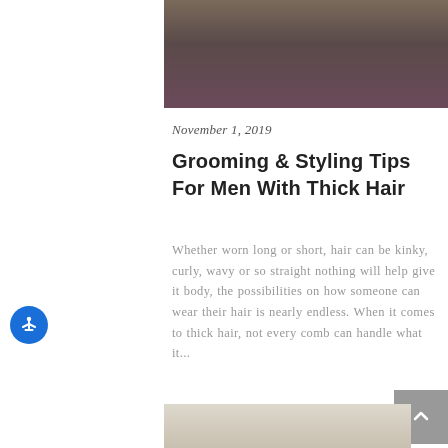[Figure (photo): Top portion of a person wearing a dark maroon v-neck sweater, partially cropped]
November 1, 2019
Grooming & Styling Tips For Men With Thick Hair
Whether worn long or short, hair can be kinky, curly, wavy or so straight nothing will help give it body, the possibilities on how someone can wear their hair is nearly endless. When it comes to thick hair, not every comb can handle what it...
By Michael
[Figure (photo): Bottom portion of another article image, showing a light-colored interior scene]